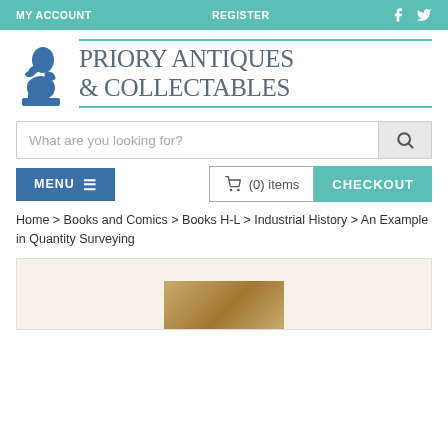MY ACCOUNT   REGISTER   f   twitter
[Figure (logo): Priory Antiques & Collectables logo with blue Thinker statue silhouette and text]
What are you looking for?
MENU  ☰    (0) items   CHECKOUT
Home > Books and Comics > Books H-L > Industrial History > An Example in Quantity Surveying
[Figure (photo): Product image placeholder showing book cover in golden/tan colors]